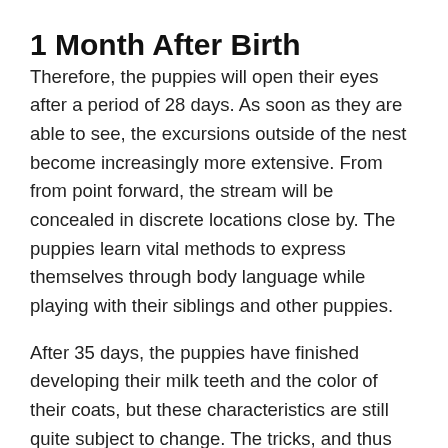1 Month After Birth
Therefore, the puppies will open their eyes after a period of 28 days. As soon as they are able to see, the excursions outside of the nest become increasingly more extensive. From from point forward, the stream will be concealed in discrete locations close by. The puppies learn vital methods to express themselves through body language while playing with their siblings and other puppies.
After 35 days, the puppies have finished developing their milk teeth and the color of their coats, but these characteristics are still quite subject to change. The tricks, and thus their study time